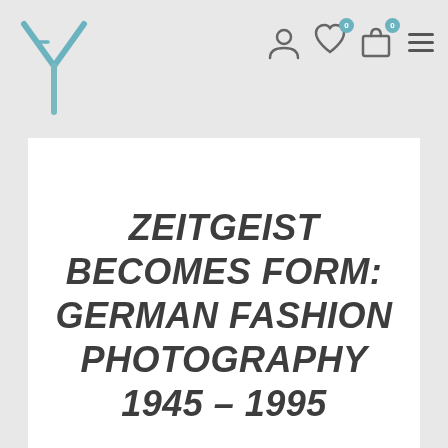[Figure (logo): Y-shaped logo in teal/blue lines on grey background, top left corner]
[Figure (infographic): Navigation bar with user icon, heart icon with badge 0, shopping bag icon with badge 0, and hamburger menu icon]
ZEITGEIST BECOMES FORM: GERMAN FASHION PHOTOGRAPHY 1945 – 1995
[Figure (photo): Black and white photograph of a woman posing near a window, partially visible at bottom of page, appears to be a fashion photography image]